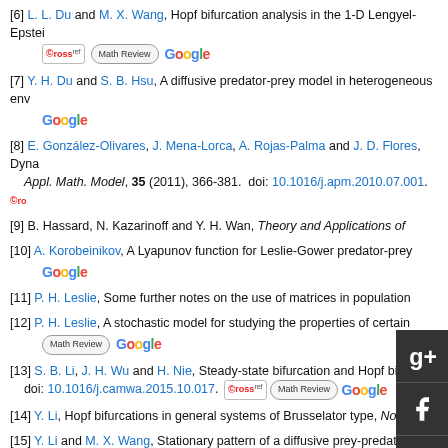[6] L. L. Du and M. X. Wang, Hopf bifurcation analysis in the 1-D Lengyel-Epstein reaction-diffusion model. [CrossRef] [Math Review] [Google]
[7] Y. H. Du and S. B. Hsu, A diffusive predator-prey model in heterogeneous environment. [Google]
[8] E. González-Olivares, J. Mena-Lorca, A. Rojas-Palma and J. D. Flores, Dynamical complexities in the Leslie-Gower predator-prey model as consequences of the Allee effect on prey, Appl. Math. Model, 35 (2011), 366-381. doi: 10.1016/j.apm.2010.07.001. [CrossRef]
[9] B. Hassard, N. Kazarinoff and Y. H. Wan, Theory and Applications of
[10] A. Korobeinikov, A Lyapunov function for Leslie-Gower predator-prey models. [Google]
[11] P. H. Leslie, Some further notes on the use of matrices in population
[12] P. H. Leslie, A stochastic model for studying the properties of certain biological systems. [Math Review] [Google]
[13] S. B. Li, J. H. Wu and H. Nie, Steady-state bifurcation and Hopf bifurcation for a diffusive Leslie-Gower predator-prey model. doi: 10.1016/j.camwa.2015.10.017. [CrossRef] [Math Review] [Google]
[14] Y. Li, Hopf bifurcations in general systems of Brusselator type, Nonlinear Analysis
[15] Y. Li and M. X. Wang, Stationary pattern of a diffusive prey-predator model with refuge. doi: 10.1016/j.nonrwa.2012.11.012. [CrossRef] [Math Review] [Google]
[16] N. Min and X. M. Wang, Qualitative analysis for a diffusive predator-prey mo doi: 10.1016/j.camwa.2016.07.028. [CrossRef] [Math Review] [Google]